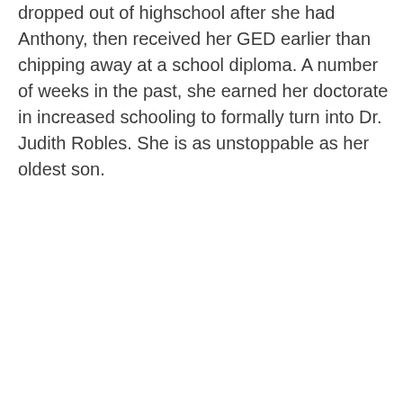dropped out of highschool after she had Anthony, then received her GED earlier than chipping away at a school diploma. A number of weeks in the past, she earned her doctorate in increased schooling to formally turn into Dr. Judith Robles. She is as unstoppable as her oldest son.